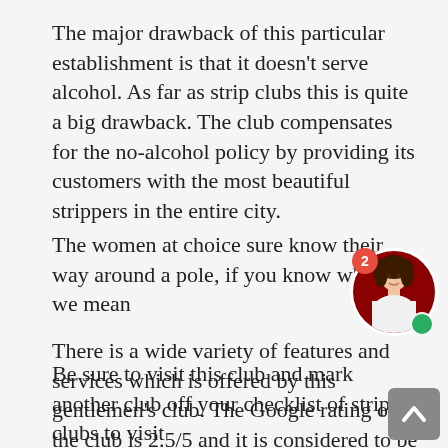The major drawback of this particular establishment is that it doesn't serve alcohol. As far as strip clubs this is quite a big drawback. The club compensates for the no-alcohol policy by providing its customers with the most beautiful strippers in the entire city.
The women at choice sure know their way around a pole, if you know what we mea[n]
[Figure (photo): Circular chat avatar showing a woman, with a red badge showing '2' and a green online indicator dot]
There is a wide variety of features and services which is offered by this gentlemen's club. The Google rating of the club is 2.5/5 and it is considered to be a pretty solid establishment in the city of Minneapolis.
[Figure (other): Grey scroll-to-top button with upward chevron arrow]
Be sure to visit this club and mark another club off your checklist of strip clubs to visit